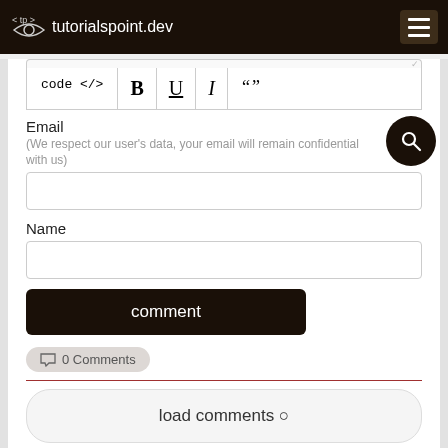tutorialspoint.dev
[Figure (screenshot): Text editor toolbar with buttons: code </>, B (bold), U (underline), I (italic), quotation marks]
Email
(We respect our user's data, your email will remain confidential with us)
Name
comment
0 Comments
load comments ○
Subscribe to Our Newsletter